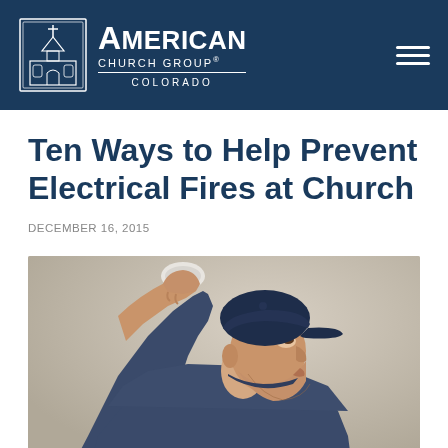American Church Group Colorado
Ten Ways to Help Prevent Electrical Fires at Church
DECEMBER 16, 2015
[Figure (photo): A man in a dark blue t-shirt and navy baseball cap reaching up to install or check a smoke detector on a ceiling, looking upward.]